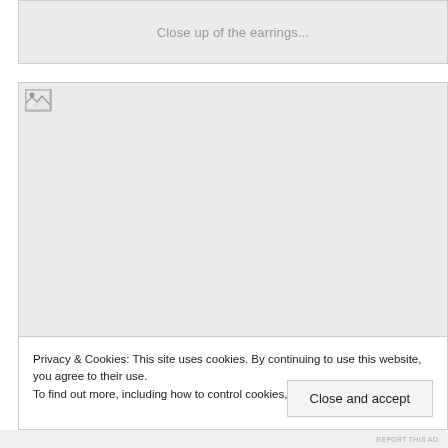[Figure (photo): Image placeholder box showing 'Close up of the earrings...' alt text in gray]
Close up of the earrings...
[Figure (photo): Large image placeholder with broken image icon in top-left corner, gray background]
Privacy & Cookies: This site uses cookies. By continuing to use this website, you agree to their use.
To find out more, including how to control cookies, see here: Cookie Policy
Close and accept